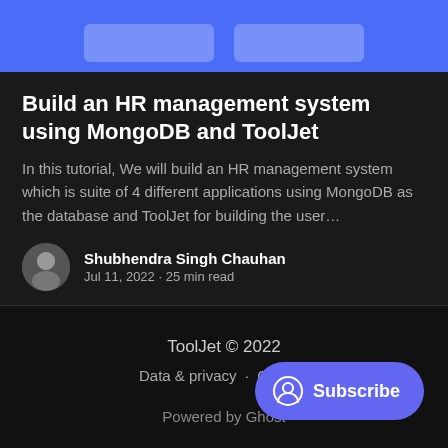[Figure (screenshot): Blue banner with two rounded rectangle card placeholders]
Build an HR management system using MongoDB and ToolJet
In this tutorial, We will build an HR management system which is suite of 4 different applications using MongoDB as the database and ToolJet for building the user...
Shubhendra Singh Chauhan
Jul 11, 2022 • 25 min read
ToolJet © 2022
Data & privacy · Contact
Powered by Ghost
[Figure (illustration): Subscribe button with user/profile circle icon]